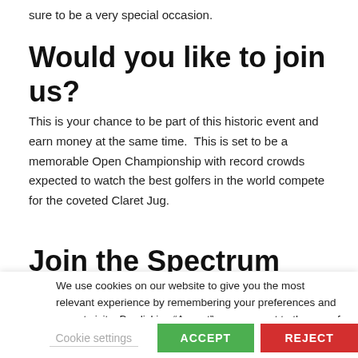sure to be a very special occasion.
Would you like to join us?
This is your chance to be part of this historic event and earn money at the same time.  This is set to be a memorable Open Championship with record crowds expected to watch the best golfers in the world compete for the coveted Claret Jug.
Join the Spectrum team to experience the fantastic atmosphere
We use cookies on our website to give you the most relevant experience by remembering your preferences and repeat visits. By clicking “Accept”, you consent to the use of ALL the cookies. However you may visit Cookie Settings to provide a controlled consent.